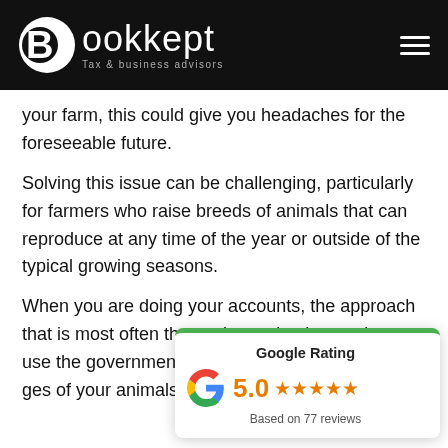Bookkept — Tax & business advisors
your farm, this could give you headaches for the foreseeable future.
Solving this issue can be challenging, particularly for farmers who raise breeds of animals that can reproduce at any time of the year or outside of the typical growing seasons.
When you are doing your accounts, the approach that is most often the easiest to implement is to use the government's definition [of ages] of your animals.
[Figure (infographic): Google Rating widget showing 5.0 stars based on 77 reviews, with Google G logo, green top border]
It's possible that it won't always be accurate from a